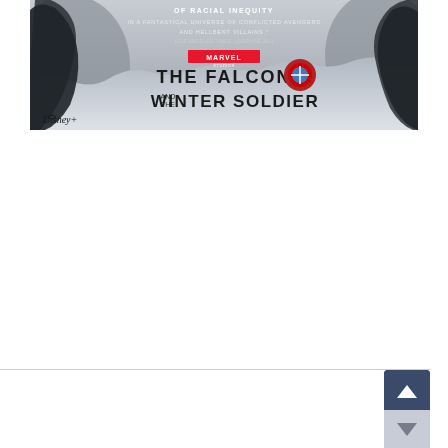[Figure (illustration): Promotional banner for Marvel Studios 'The Falcon and the Winter Soldier' on Disney+. Shows two characters in silhouette against a snowy/icy background. Text overlay reads: 'OF RACIAL INEQUITY / IN A FANTASTICAL UNIVERSE OF CONFLICTED AVENGERS / AND HELLBENT VILLAINS.' / [LOS ANGELES TIMES, LORRAINE ALI]. Marvel Studios logo with 'THE FALCON AND THE WINTER SOLDIER' title text. Disney+ logo in lower left.]